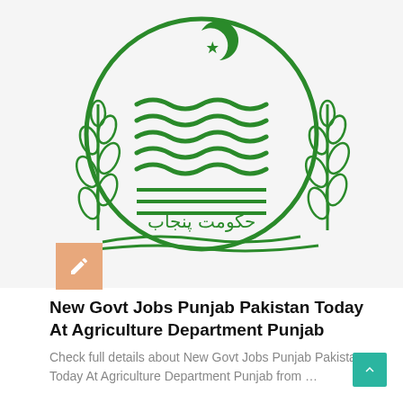[Figure (logo): Government of Punjab Pakistan official seal/logo in green color, featuring a circular emblem with crescent moon and star at top, wavy lines representing rivers in the center, wheat stalks on both sides, and Urdu text 'Hukumat-e-Punjab' (Government of Punjab) at the bottom]
New Govt Jobs Punjab Pakistan Today At Agriculture Department Punjab
Check full details about New Govt Jobs Punjab Pakistan Today At Agriculture Department Punjab from …